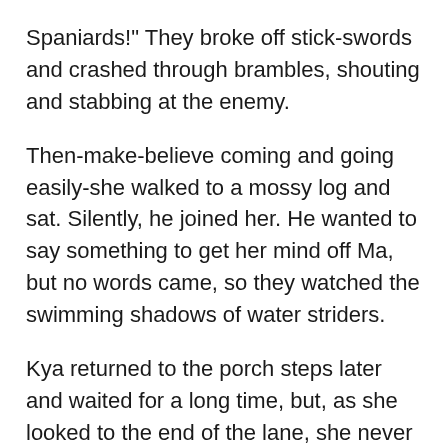Spaniards!" They broke off stick-swords and crashed through brambles, shouting and stabbing at the enemy.
Then-make-believe coming and going easily-she walked to a mossy log and sat. Silently, he joined her. He wanted to say something to get her mind off Ma, but no words came, so they watched the swimming shadows of water striders.
Kya returned to the porch steps later and waited for a long time, but, as she looked to the end of the lane, she never cried. Her face was still, her lips a simple thin line under searching eyes. But Ma didn't come back that day either.
2.
Jodie...